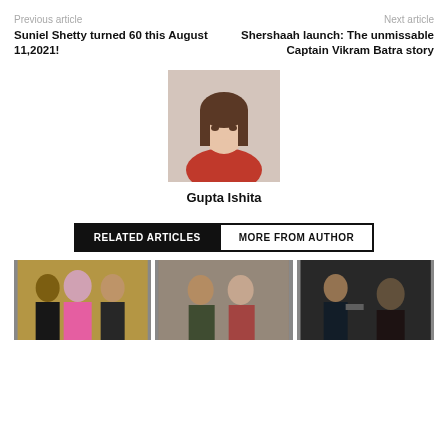Previous article
Suniel Shetty turned 60 this August 11,2021!
Next article
Shershaah launch: The unmissable Captain Vikram Batra story
[Figure (photo): Author photo of Gupta Ishita - woman with long hair resting chin on hand, wearing red]
Gupta Ishita
RELATED ARTICLES
MORE FROM AUTHOR
[Figure (photo): Group of Bollywood celebrities posing together]
[Figure (photo): Two people in a scene from a TV show or film]
[Figure (photo): Action scene with a man holding a gun]